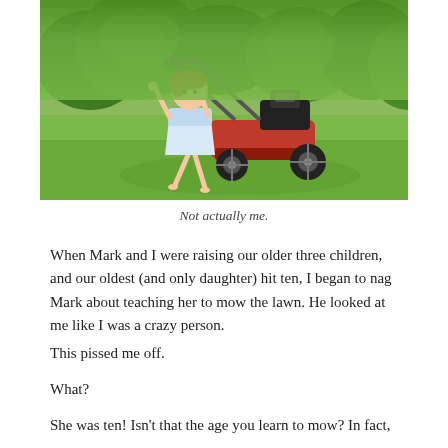[Figure (photo): A young girl in a light blue dress pushing a red and black lawn mower across a green lawn with trees/bushes in the background.]
Not actually me.
When Mark and I were raising our older three children, and our oldest (and only daughter) hit ten, I began to nag Mark about teaching her to mow the lawn. He looked at me like I was a crazy person.
This pissed me off.
What?
She was ten! Isn’t that the age you learn to mow? In fact,